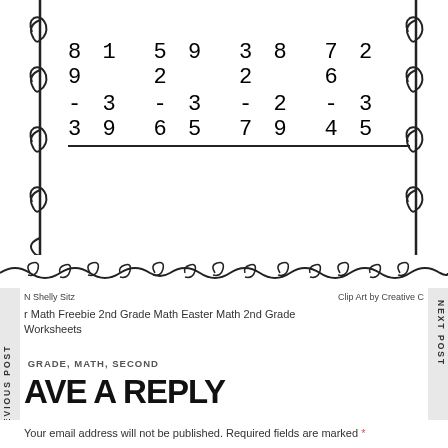[Figure (illustration): Math worksheet section showing four subtraction problems: 819-339, 592-365, 382-279, 726-345, with spiral binding decorations on left and right sides]
[Figure (illustration): Decorative wavy/curly line border at bottom of worksheet]
N Shelly Sitz
Clip Art by Creative C
r Math Freebie 2nd Grade Math Easter Math 2nd Grade Worksheets
GRADE, MATH, SECOND
AVE A REPLY
Your email address will not be published. Required fields are marked *
Comment *